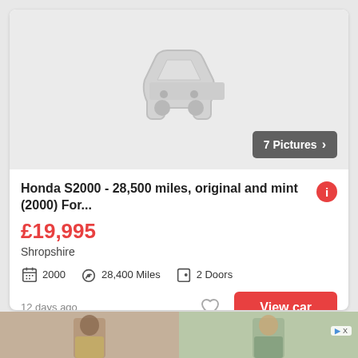[Figure (illustration): Car listing placeholder image showing a grey outline of a car (front view icon) on light grey background with a '7 Pictures >' badge in bottom right]
Honda S2000 - 28,500 miles, original and mint (2000) For...
£19,995
Shropshire
2000  28,400 Miles  2 Doors
12 days ago
View car
[Figure (photo): Advertisement banner at the bottom showing two people (man and woman) with an ad disclosure triangle icon]